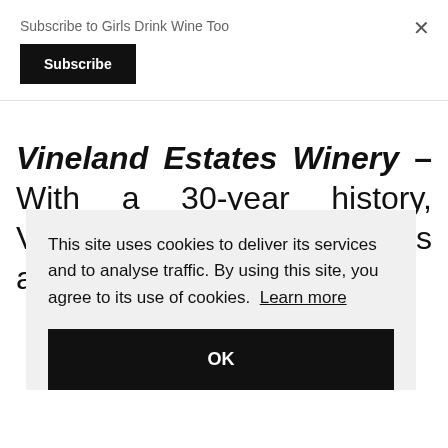Subscribe to Girls Drink Wine Too
Subscribe
×
Vineland Estates Winery – With a 30-year history, Vineland Estates Winery is a favourite for both … a … The … and … well … with locally sourced cuisine.
This site uses cookies to deliver its services and to analyse traffic. By using this site, you agree to its use of cookies. Learn more
OK